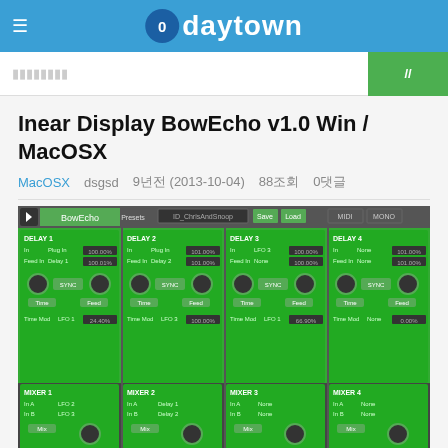0daytown
검색하기
Inear Display BowEcho v1.0 Win / MacOSX
MacOSX  dsgsd  9년전 (2013-10-04)  88조회  0댓글
[Figure (screenshot): BowEcho v1.0 plugin interface showing 4 delay modules and 4 mixer modules with green UI theme]